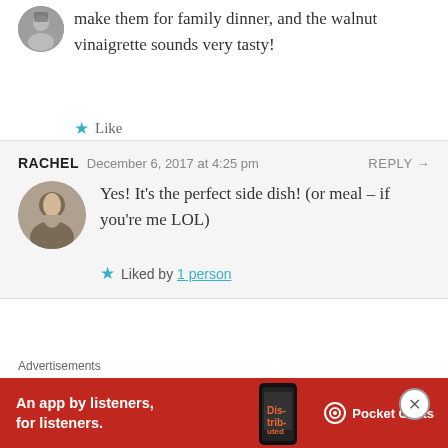make them for family dinner, and the walnut vinaigrette sounds very tasty!
Like
RACHEL  December 6, 2017 at 4:25 pm  REPLY →
Yes! It's the perfect side dish! (or meal – if you're me LOL)
Liked by 1 person
DEBBIE SPIVEY  December 7, 2017 at 7:04 am  REPLY →
Advertisements
[Figure (screenshot): Red advertisement banner for Pocket Casts app reading 'An app by listeners, for listeners.' with a phone image and Pocket Casts logo]